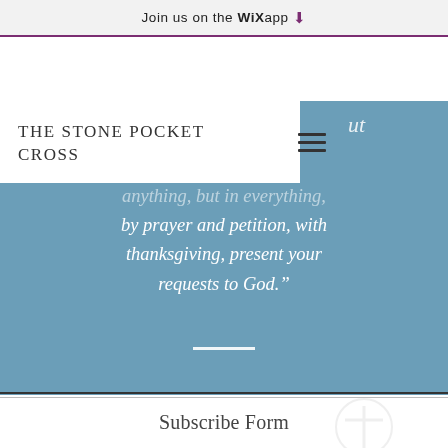Join us on the WiX app ↓
THE STONE POCKET CROSS
anything, but in everything, by prayer and petition, with thanksgiving, present your requests to God."
Subscribe Form